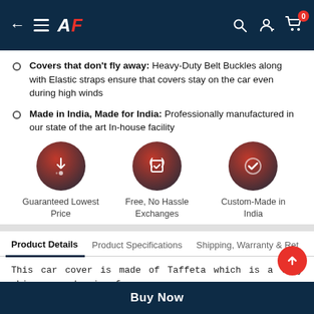AF — navigation bar with back arrow, menu, logo, search, profile, and cart (0 items)
Covers that don't fly away: Heavy-Duty Belt Buckles along with Elastic straps ensure that covers stay on the car even during high winds
Made in India, Made for India: Professionally manufactured in our state of the art In-house facility
[Figure (infographic): Three circular icons: Guaranteed Lowest Price, Free No Hassle Exchanges, Custom-Made in India]
Product Details | Product Specifications | Shipping, Warranty & Ret
This car cover is made of Taffeta which is a very shimmery and crisp fa... The premium fabric is known for its softness, stiff texture, shine, and sl... smoothness. This Car body cover acts as a shield from bad weather. It
Buy Now